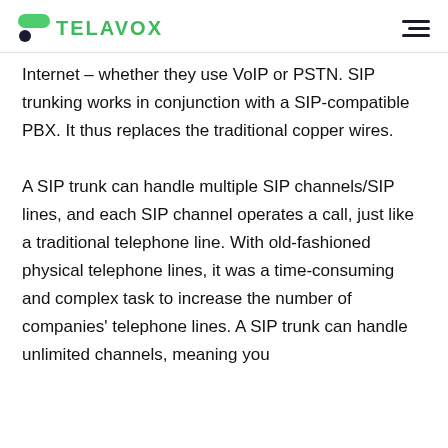TELAVOX
Internet – whether they use VoIP or PSTN. SIP trunking works in conjunction with a SIP-compatible PBX. It thus replaces the traditional copper wires.
A SIP trunk can handle multiple SIP channels/SIP lines, and each SIP channel operates a call, just like a traditional telephone line. With old-fashioned physical telephone lines, it was a time-consuming and complex task to increase the number of companies' telephone lines. A SIP trunk can handle unlimited channels, meaning you